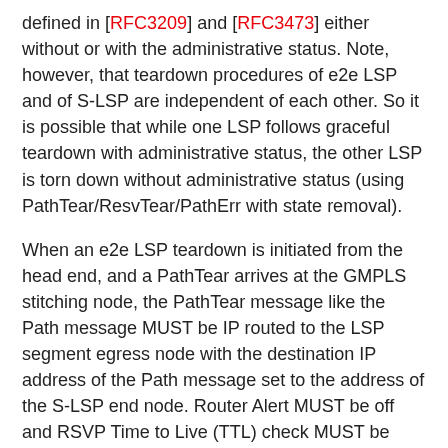defined in [RFC3209] and [RFC3473] either without or with the administrative status. Note, however, that teardown procedures of e2e LSP and of S-LSP are independent of each other. So it is possible that while one LSP follows graceful teardown with administrative status, the other LSP is torn down without administrative status (using PathTear/ResvTear/PathErr with state removal).
When an e2e LSP teardown is initiated from the head end, and a PathTear arrives at the GMPLS stitching node, the PathTear message like the Path message MUST be IP routed to the LSP segment egress node with the destination IP address of the Path message set to the address of the S-LSP end node. Router Alert MUST be off and RSVP Time to Live (TTL) check MUST be disabled on the receiving node. PathTear will result in deletion of RSVP states corresponding to the e2e LSP and freeing of label allocations and bandwidth reservations on the S-LSP. The unreserved bandwidth on the S-LSP TE link SHOULD be readjusted.